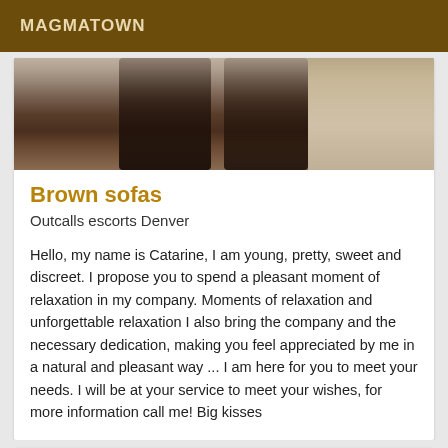MAGMATOWN
[Figure (photo): Cropped photo showing legs of a person standing, visible from thighs down, on a carpet floor with a sofa visible in the background]
Brown sofas
Outcalls escorts Denver
Hello, my name is Catarine, I am young, pretty, sweet and discreet. I propose you to spend a pleasant moment of relaxation in my company. Moments of relaxation and unforgettable relaxation I also bring the company and the necessary dedication, making you feel appreciated by me in a natural and pleasant way ... I am here for you to meet your needs. I will be at your service to meet your wishes, for more information call me! Big kisses
[Figure (photo): Partial photo showing a brown sofa or cushioned furniture, cropped at the bottom of the page]